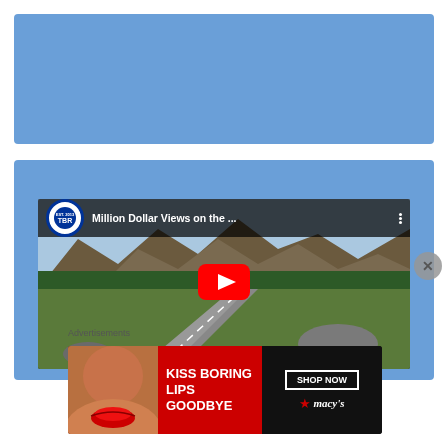[Figure (screenshot): Blue placeholder block at top of page]
[Figure (screenshot): YouTube embedded video player in blue container showing 'Million Dollar Views on the ...' with a mountain road aerial scene and red play button overlay. TBR channel logo visible.]
Advertisements
[Figure (photo): Macy's advertisement banner: 'KISS BORING LIPS GOODBYE' with woman's face showing red lips, SHOP NOW button, and Macy's star logo]